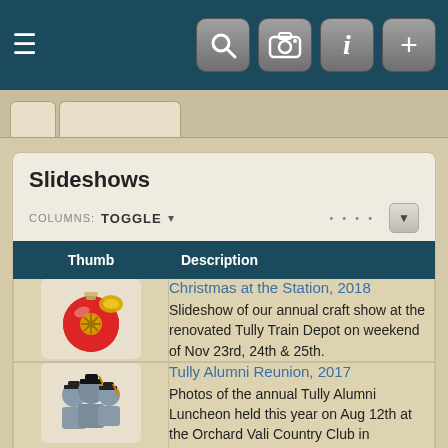[Figure (screenshot): Mobile app navigation bar with hamburger menu and icons for search, camera, info, and add]
Slideshows
COLUMNS: TOGGLE
| Thumb | Description |
| --- | --- |
| [christmas ornament image] | Christmas at the Station, 2018
Slideshow of our annual craft show at the renovated Tully Train Depot on weekend of Nov 23rd, 24th & 25th. |
| [graduates image] | Tully Alumni Reunion, 2017
Photos of the annual Tully Alumni Luncheon held this year on Aug 12th at the Orchard Vali Country Club in LaFayette, NY. |
| [military display image] | Military Display, 2016 |